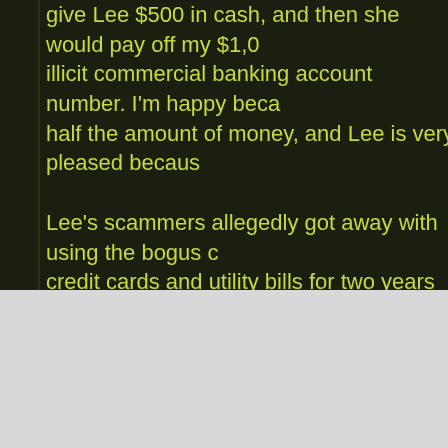give Lee $500 in cash, and then she would pay off my $1,0[00 into the] illicit commercial banking account number. I'm happy beca[use I saved] half the amount of money, and Lee is very pleased becaus[e...]

Lee's scammers allegedly got away with using the bogus c[redit...] credit cards and utility bills for two years before the accoun[t was found]. is in jail right now and will likely stay there for awhile, unles[s he posts] $500,000 bail. - cardratings